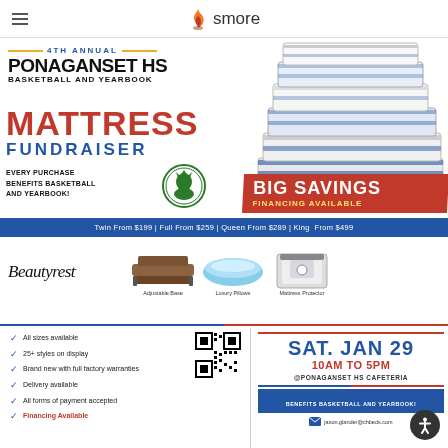smore
4TH ANNUAL PONAGANSET HS BASKETBALL AND YEARBOOK MATTRESS FUNDRAISER
EVERY PURCHASE BENEFITS BASKETBALL AND YEARBOOK!
BIG SAVINGS FINANCING AVAILABLE
Twin From $199 | Full From $259 | Queen From $289 | King From $499
[Figure (illustration): Stack of mattresses]
[Figure (logo): Beautyrest logo with adjustable base, luxury pillows, mattress protector product images]
All sizes available
25+ styles on display
Brand new with full factory warranties
Delivery available
All forms of payment accepted
Financing Available
SAT. JAN 29
10AM TO 5PM
@PONAGANSET HS CAFETERIA
BENEFITS BASKETBALL AND YEARBOOK!
jason.glander@chbeds.com